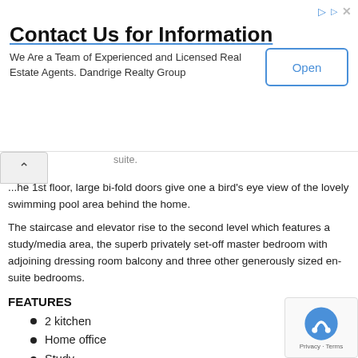Contact Us for Information — We Are a Team of Experienced and Licensed Real Estate Agents. Dandrige Realty Group [Open button]
...suite. ...he 1st floor, large bi-fold doors give one a bird's eye view of the lovely swimming pool area behind the home.
The staircase and elevator rise to the second level which features a study/media area, the superb privately set-off master bedroom with adjoining dressing room balcony and three other generously sized en-suite bedrooms.
FEATURES
2 kitchen
Home office
Study
GYM
Swimming Pool
Garden
Garage